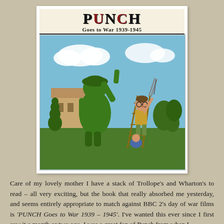[Figure (illustration): Cover of 'PUNCH Goes to War 1939-1945' book. Shows a cartoon illustration of a gardener standing on a ladder, trimming a large topiary bush shaped like a soldier giving a Nazi salute. The 'PUNCH' title is in large red and black serif letters at the top, with 'Goes to War 1939-1945' subtitle beneath. Background shows blue sky with clouds and a country house.]
Care of my lovely mother I have a stack of Trollope's and Wharton's to read – all very exciting, but the book that really absorbed me yesterday, and seems entirely appropriate to match against BBC 2's day of war films is 'PUNCH Goes to War 1939 – 1945'. I've wanted this ever since I first saw it a month or two ago. I was a great fan of Punch from when I